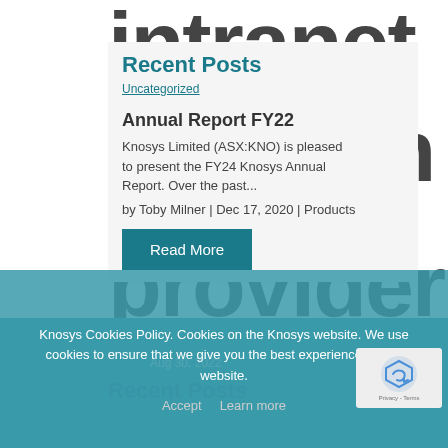Recent Posts
Uncategorized
Annual Report FY22
Knosys Limited (ASX:KNO) is pleased to present the FY24 Knosys Annual Report. Over the past...
by Toby Milner | Dec 17, 2020 | Products
Read More
← Previous post
Next Post →
Aug 30, 2022
Recent Posts
Knosys Cookies Policy. Cookies on the Knosys website. We use cookies to ensure that we give you the best experience on our website.
Accept   Learn more